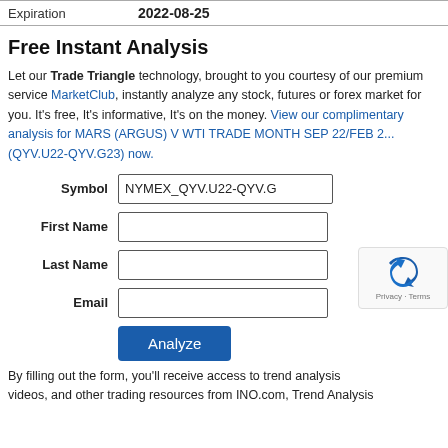|  |  |
| --- | --- |
| Expiration | 2022-08-25 |
Free Instant Analysis
Let our Trade Triangle technology, brought to you courtesy of our premium service MarketClub, instantly analyze any stock, futures or forex market for you. It's free, It's informative, It's on the money. View our complimentary analysis for MARS (ARGUS) V WTI TRADE MONTH SEP 22/FEB 2... (QYV.U22-QYV.G23) now.
Symbol: NYMEX_QYV.U22-QYV.G, First Name, Last Name, Email fields with Analyze button
By filling out the form, you'll receive access to trend analy... videos, and other trading resources from INO.com, Trend Analysis...